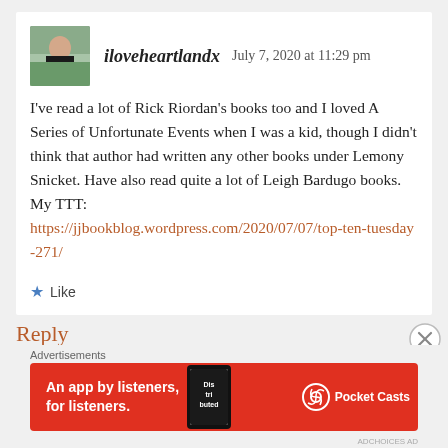iloveheartlandx   July 7, 2020 at 11:29 pm
I've read a lot of Rick Riordan's books too and I loved A Series of Unfortunate Events when I was a kid, though I didn't think that author had written any other books under Lemony Snicket. Have also read quite a lot of Leigh Bardugo books.
My TTT:
https://jjbookblog.wordpress.com/2020/07/07/top-ten-tuesday-271/
Like
Reply
Advertisements
[Figure (photo): Pocket Casts ad banner: red background with phone device showing 'Distributed' app cover, text 'An app by listeners, for listeners.' and Pocket Casts logo]